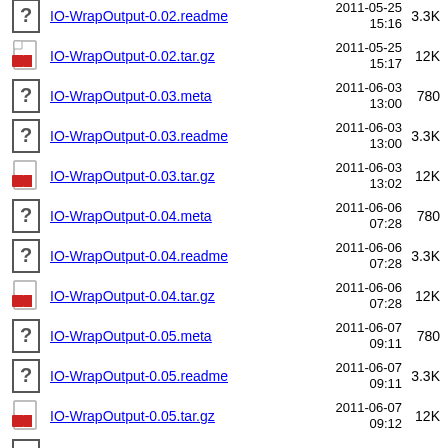IO-WrapOutput-0.02.readme  2011-05-25 15:16  3.3K
IO-WrapOutput-0.02.tar.gz  2011-05-25 15:17  12K
IO-WrapOutput-0.03.meta  2011-06-03 13:00  780
IO-WrapOutput-0.03.readme  2011-06-03 13:00  3.3K
IO-WrapOutput-0.03.tar.gz  2011-06-03 13:02  12K
IO-WrapOutput-0.04.meta  2011-06-06 07:28  780
IO-WrapOutput-0.04.readme  2011-06-06 07:28  3.3K
IO-WrapOutput-0.04.tar.gz  2011-06-06 07:28  12K
IO-WrapOutput-0.05.meta  2011-06-07 09:11  780
IO-WrapOutput-0.05.readme  2011-06-07 09:11  3.3K
IO-WrapOutput-0.05.tar.gz  2011-06-07 09:12  12K
IO-WrapOutput-0.06.meta  2011-06-09  780